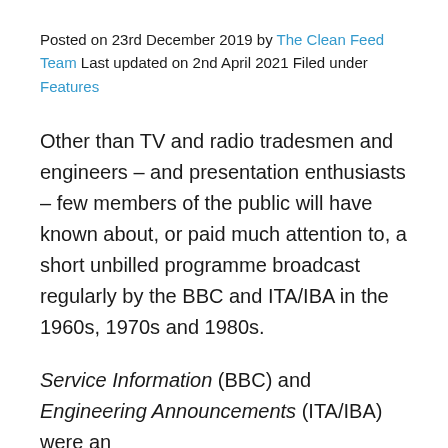Posted on 23rd December 2019 by The Clean Feed Team Last updated on 2nd April 2021 Filed under Features
Other than TV and radio tradesmen and engineers – and presentation enthusiasts – few members of the public will have known about, or paid much attention to, a short unbilled programme broadcast regularly by the BBC and ITA/IBA in the 1960s, 1970s and 1980s.
Service Information (BBC) and Engineering Announcements (ITA/IBA) were an